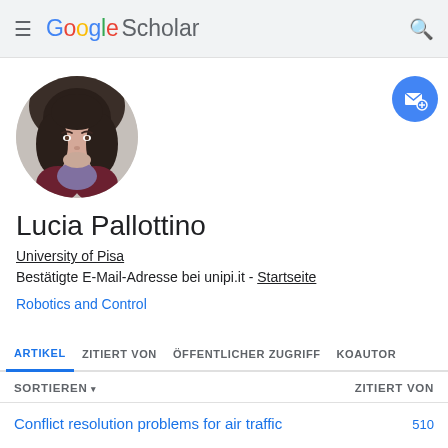Google Scholar
[Figure (photo): Circular profile photo of Lucia Pallottino, a woman with dark shoulder-length hair]
Lucia Pallottino
University of Pisa
Bestätigte E-Mail-Adresse bei unipi.it - Startseite
Robotics and Control
ARTIKEL   ZITIERT VON   ÖFFENTLICHER ZUGRIFF   KOAUTOR
SORTIEREN ▾   ZITIERT VON
Conflict resolution problems for air traffic   510